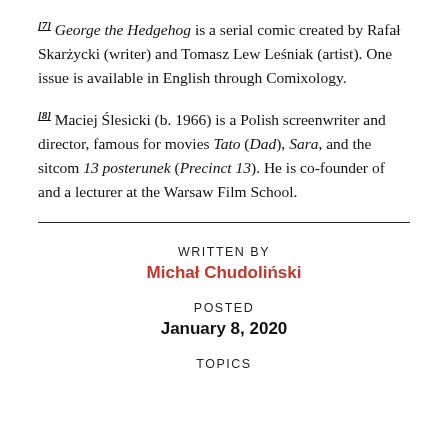[7] George the Hedgehog is a serial comic created by Rafał Skarżycki (writer) and Tomasz Lew Leśniak (artist). One issue is available in English through Comixology.
[8] Maciej Ślesicki (b. 1966) is a Polish screenwriter and director, famous for movies Tato (Dad), Sara, and the sitcom 13 posterunek (Precinct 13). He is co-founder of and a lecturer at the Warsaw Film School.
WRITTEN BY
Michał Chudoliński
POSTED
January 8, 2020
TOPICS